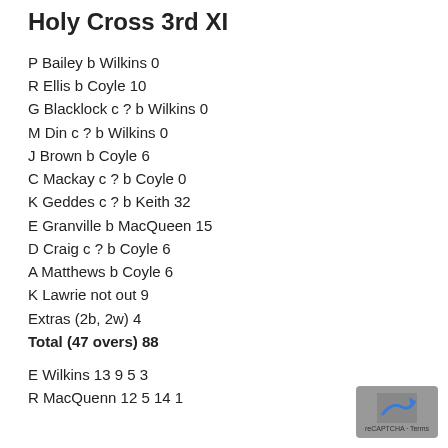Holy Cross 3rd XI
P Bailey b Wilkins 0
R Ellis b Coyle 10
G Blacklock c ? b Wilkins 0
M Din c ? b Wilkins 0
J Brown b Coyle 6
C Mackay c ? b Coyle 0
K Geddes c ? b Keith 32
E Granville b MacQueen 15
D Craig c ? b Coyle 6
A Matthews b Coyle 6
K Lawrie not out 9
Extras (2b, 2w) 4
Total (47 overs) 88
E Wilkins 13 9 5 3
R MacQuenn 12 5 14 1